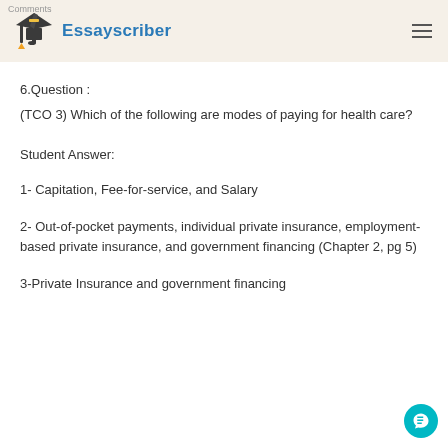Essayscriber
6.Question :
(TCO 3) Which of the following are modes of paying for health care?
Student Answer:
1- Capitation, Fee-for-service, and Salary
2- Out-of-pocket payments, individual private insurance, employment-based private insurance, and government financing (Chapter 2, pg 5)
3-Private Insurance and government financing